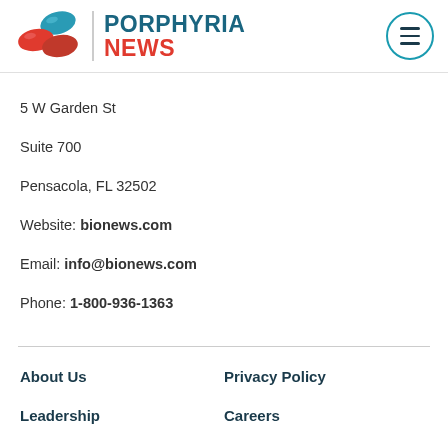PORPHYRIA NEWS
5 W Garden St
Suite 700
Pensacola, FL 32502
Website: bionews.com
Email: info@bionews.com
Phone: 1-800-936-1363
About Us
Privacy Policy
Leadership
Careers
Our Culture
Contact Us
Corrections Policy
Terms of Service
Advertising Policy
Disable Notifications